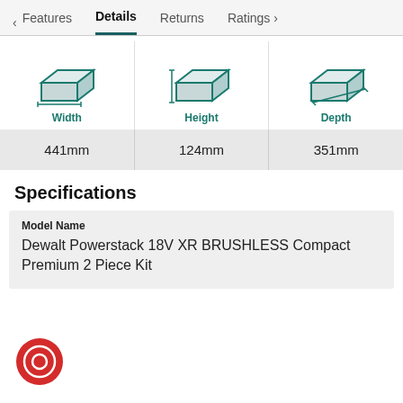< Features   Details   Returns   Ratings >
[Figure (infographic): Three 3D box icons labeled Width, Height, Depth representing product dimensions]
| Width | Height | Depth |
| --- | --- | --- |
| 441mm | 124mm | 351mm |
Specifications
| Model Name |
| --- |
| Dewalt Powerstack 18V XR BRUSHLESS Compact Premium 2 Piece Kit |
[Figure (other): Red circular record/target button icon at bottom left]